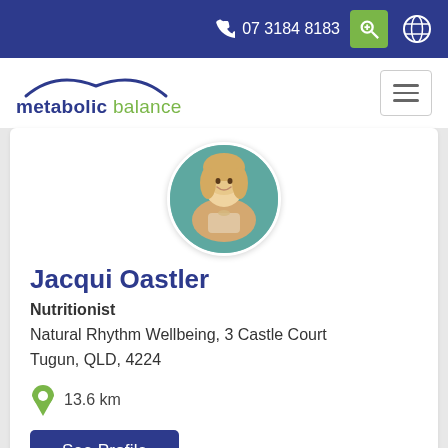07 3184 8183
[Figure (logo): Metabolic Balance logo with stylized arc and text 'metabolic balance']
[Figure (photo): Circular profile photo of Jacqui Oastler, a woman with blonde hair, smiling, against a teal background]
Jacqui Oastler
Nutritionist
Natural Rhythm Wellbeing, 3 Castle Court
Tugun, QLD, 4224
13.6 km
See Profile